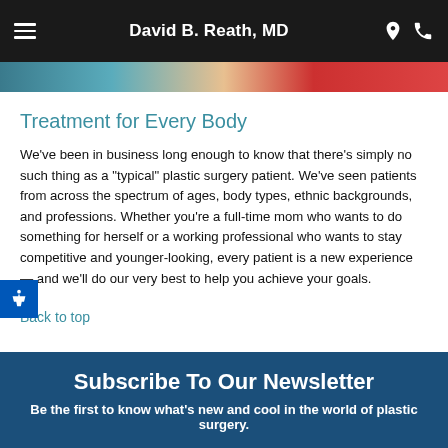David B. Reath, MD
[Figure (photo): Partial view of a doctor and patient photo strip at the top of the page]
Treatment for Every Body
We've been in business long enough to know that there's simply no such thing as a "typical" plastic surgery patient. We've seen patients from across the spectrum of ages, body types, ethnic backgrounds, and professions. Whether you're a full-time mom who wants to do something for herself or a working professional who wants to stay competitive and younger-looking, every patient is a new experience — and we'll do our very best to help you achieve your goals.
Back to top
Subscribe To Our Newsletter
Be the first to know what's new and cool in the world of plastic surgery.